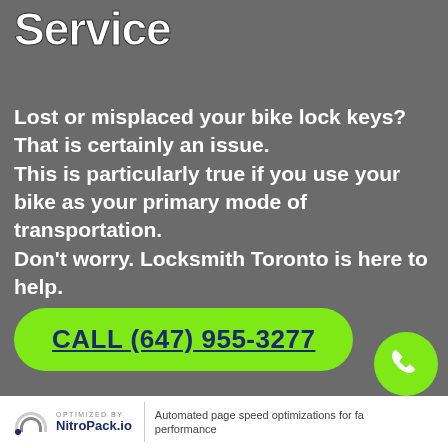Service
Lost or misplaced your bike lock keys? That is certainly an issue. This is particularly true if you use your bike as your primary mode of transportation. Don't worry. Locksmith Toronto is here to help.
CALL (647) 955-3277
[Figure (illustration): Green phone call icon button in bottom-right corner]
OPTIMIZED BY NitroPack.io | Automated page speed optimizations for fast performance